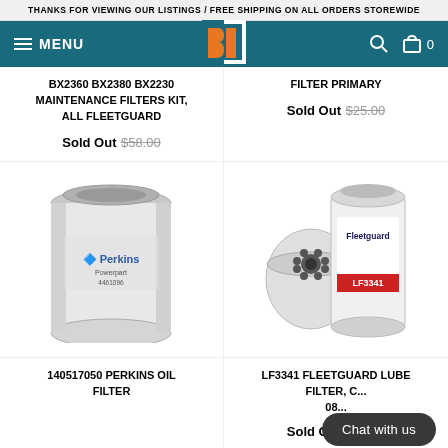THANKS FOR VIEWING OUR LISTINGS / FREE SHIPPING ON ALL ORDERS STOREWIDE
MENU
BX2360 BX2380 BX2230 MAINTENANCE FILTERS KIT, ALL FLEETGUARD
Sold Out $58.00
FILTER PRIMARY
Sold Out $25.00
[Figure (photo): White cylindrical Perkins Powerpart oil filter on white background]
[Figure (photo): Two Fleetguard LF3341 lube filters on white background - one showing face with holes, one showing label]
140517050 PERKINS OIL FILTER
LF3341 FLEETGUARD LUBE FILTER, C... 08...
Sold Out $43.00
Chat with us